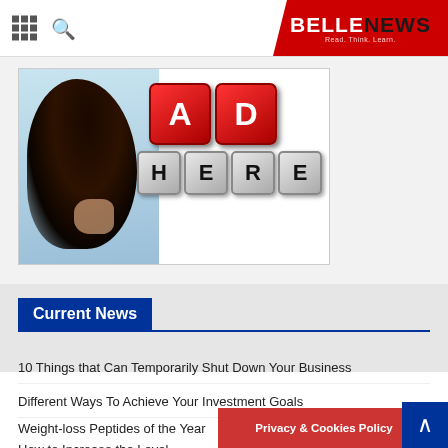BELLENEWS - Read. Think. Learn.
[Figure (illustration): Advertisement placeholder banner showing a woman with dark hair and 3D letter blocks spelling 'AD HERE']
Current News
10 Things that Can Temporarily Shut Down Your Business
Different Ways To Achieve Your Investment Goals
Weight-loss Peptides of the Year
How to Increase the Level
Privacy & Cookies Policy